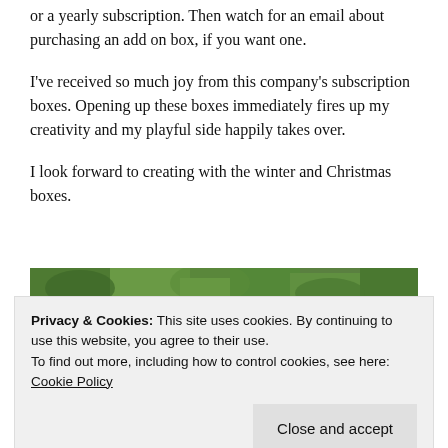or a yearly subscription. Then watch for an email about purchasing an add on box, if you want one.
I've received so much joy from this company's subscription boxes. Opening up these boxes immediately fires up my creativity and my playful side happily takes over.
I look forward to creating with the winter and Christmas boxes.
[Figure (photo): Photo of green plants/foliage, partially visible behind a cookie consent banner]
Privacy & Cookies: This site uses cookies. By continuing to use this website, you agree to their use.
To find out more, including how to control cookies, see here: Cookie Policy
[Close and accept button]
[Figure (photo): Partial photo at bottom of page showing dark items, partially cut off]